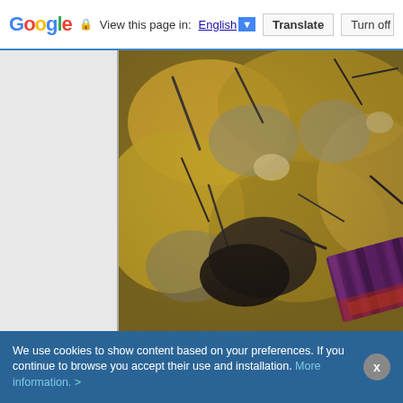Google  View this page in: English ▼  Translate  Turn off for: S
[Figure (photo): Close-up macro photograph of mineral specimen showing yellow-orange crystalline masses with dark needle-like crystal inclusions (possibly tourmaline or similar minerals), and a prominent deep purple/red striated crystal (possibly elbaite tourmaline) visible in the lower right corner. The background shows grey and beige rocky matrix.]
We use cookies to show content based on your preferences. If you continue to browse you accept their use and installation. More information. >